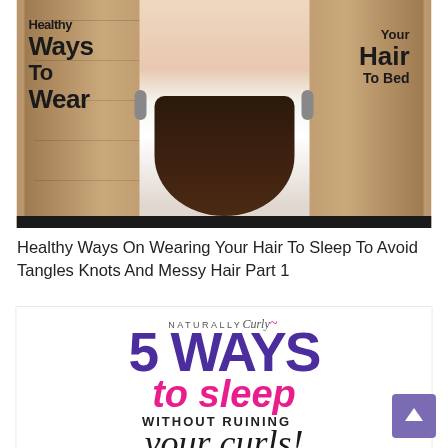[Figure (photo): Photo of a young woman with long curly dark hair in a white outfit, standing in front of wooden cabinets. Text overlaid on left reads: Healthy Ways To Wear; text on right reads: Your Hair To Bed]
Healthy Ways On Wearing Your Hair To Sleep To Avoid Tangles Knots And Messy Hair Part 1
[Figure (infographic): NaturallyCurly branded infographic. Large purple bold text '5 WAYS', hot pink italic bold text 'to sleep', bold black uppercase text 'WITHOUT RUINING', large italic serif text 'your curls!']